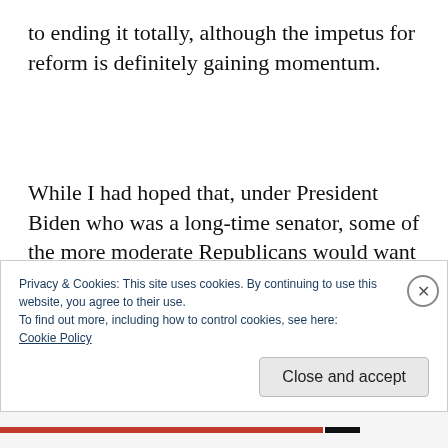to ending it totally, although the impetus for reform is definitely gaining momentum.
While I had hoped that, under President Biden who was a long-time senator, some of the more moderate Republicans would want to vote for common-sense and popular bills such as
Privacy & Cookies: This site uses cookies. By continuing to use this website, you agree to their use.
To find out more, including how to control cookies, see here:
Cookie Policy
Close and accept